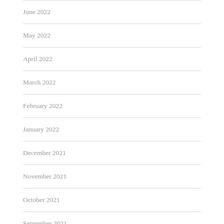June 2022
May 2022
April 2022
March 2022
February 2022
January 2022
December 2021
November 2021
October 2021
September 2021